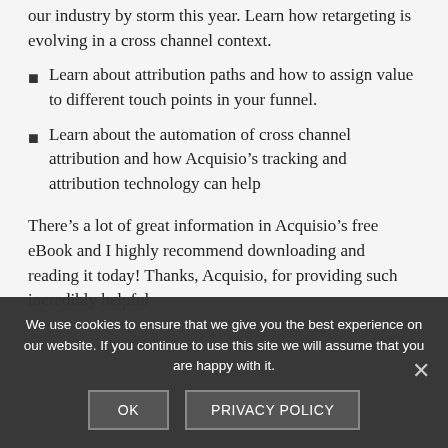our industry by storm this year. Learn how retargeting is evolving in a cross channel context.
Learn about attribution paths and how to assign value to different touch points in your funnel.
Learn about the automation of cross channel attribution and how Acquisio’s tracking and attribution technology can help
There’s a lot of great information in Acquisio’s free eBook and I highly recommend downloading and reading it today! Thanks, Acquisio, for providing such incredibly helpful
We use cookies to ensure that we give you the best experience on our website. If you continue to use this site we will assume that you are happy with it.
OK   PRIVACY POLICY